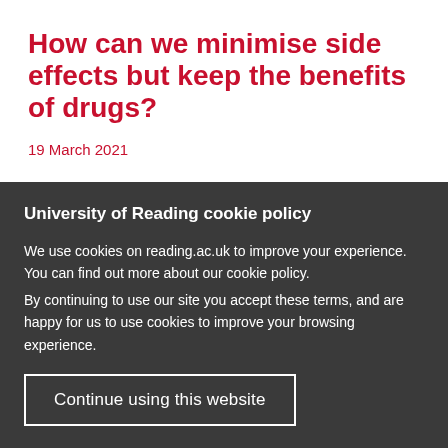How can we minimise side effects but keep the benefits of drugs?
19 March 2021
Since the field of pharmaceutical sciences emerged in the 19th century, it has been necessary to develop new medications to treat diseases effectively with few
University of Reading cookie policy
We use cookies on reading.ac.uk to improve your experience. You can find out more about our cookie policy.
By continuing to use our site you accept these terms, and are happy for us to use cookies to improve your browsing experience.
Continue using this website